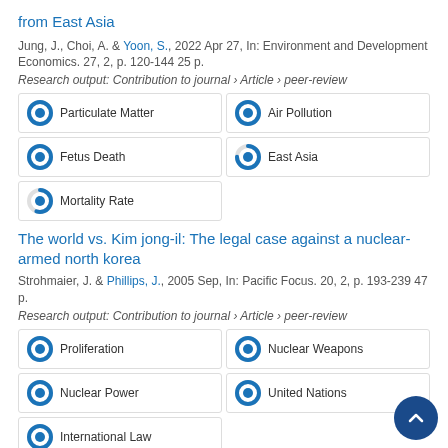from East Asia
Jung, J., Choi, A. & Yoon, S., 2022 Apr 27, In: Environment and Development Economics. 27, 2, p. 120-144 25 p.
Research output: Contribution to journal › Article › peer-review
[Figure (infographic): Tag badges with circular progress indicators: Particulate Matter (100%), Air Pollution (100%), Fetus Death (100%), East Asia (~75%), Mortality Rate (~55%)]
The world vs. Kim jong-il: The legal case against a nuclear-armed north korea
Strohmaier, J. & Phillips, J., 2005 Sep, In: Pacific Focus. 20, 2, p. 193-239 47 p.
Research output: Contribution to journal › Article › peer-review
[Figure (infographic): Tag badges with circular progress indicators: Proliferation (100%), Nuclear Weapons (100%), Nuclear Power (100%), United Nations (100%), International Law (100%)]